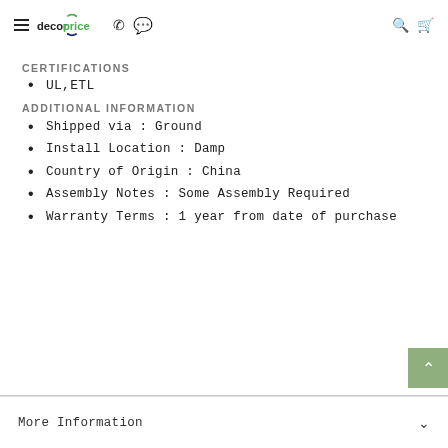decorprice navigation header
CERTIFICATIONS
UL,ETL
ADDITIONAL INFORMATION
Shipped via : Ground
Install Location : Damp
Country of Origin : China
Assembly Notes : Some Assembly Required
Warranty Terms : 1 year from date of purchase
More Information